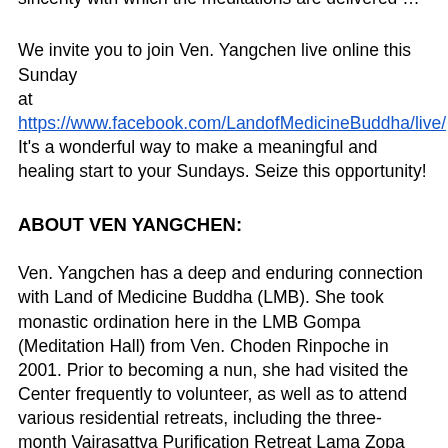the Buddhist path. No doubt this is partly thanks to the wisdom, warmth of heart and straightforward sincerity with which the meditations are delivered …
We invite you to join Ven. Yangchen live online this Sunday at https://www.facebook.com/LandofMedicineBuddha/live/  It's a wonderful way to make a meaningful and healing start to your Sundays. Seize this opportunity!
ABOUT VEN YANGCHEN:
Ven. Yangchen has a deep and enduring connection with Land of Medicine Buddha (LMB). She took monastic ordination here in the LMB Gompa (Meditation Hall) from Ven. Choden Rinpoche in 2001. Prior to becoming a nun, she had visited the Center frequently to volunteer, as well as to attend various residential retreats, including the three-month Vajrasattva Purification Retreat Lama Zopa Rinpoche led here in early 1999.